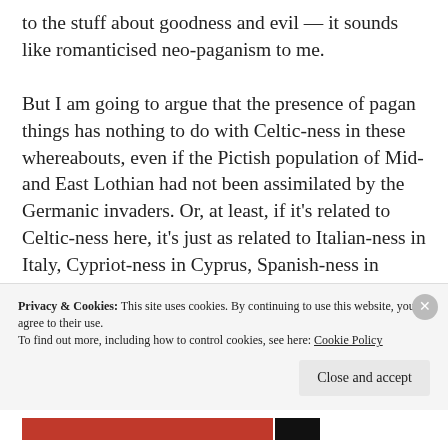to the stuff about goodness and evil — it sounds like romanticised neo-paganism to me.

But I am going to argue that the presence of pagan things has nothing to do with Celtic-ness in these whereabouts, even if the Pictish population of Mid- and East Lothian had not been assimilated by the Germanic invaders. Or, at least, if it's related to Celtic-ness here, it's just as related to Italian-ness in Italy, Cypriot-ness in Cyprus, Spanish-ness in Spain, French-ness in France, Germanic-ness
Privacy & Cookies: This site uses cookies. By continuing to use this website, you agree to their use.
To find out more, including how to control cookies, see here: Cookie Policy
Close and accept